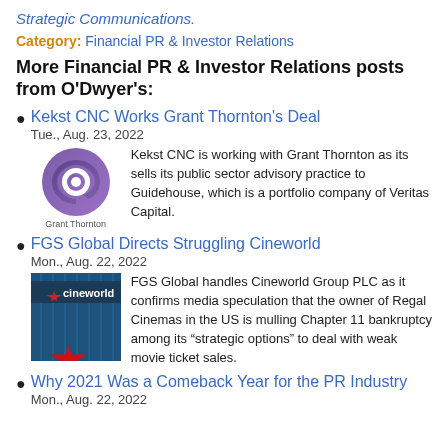Strategic Communications.
Category: Financial PR & Investor Relations
More Financial PR & Investor Relations posts from O'Dwyer's:
Kekst CNC Works Grant Thornton's Deal
Tue., Aug. 23, 2022
Kekst CNC is working with Grant Thornton as its sells its public sector advisory practice to Guidehouse, which is a portfolio company of Veritas Capital.
FGS Global Directs Struggling Cineworld
Mon., Aug. 22, 2022
FGS Global handles Cineworld Group PLC as it confirms media speculation that the owner of Regal Cinemas in the US is mulling Chapter 11 bankruptcy among its “strategic options” to deal with weak movie ticket sales.
Why 2021 Was a Comeback Year for the PR Industry
Mon., Aug. 22, 2022